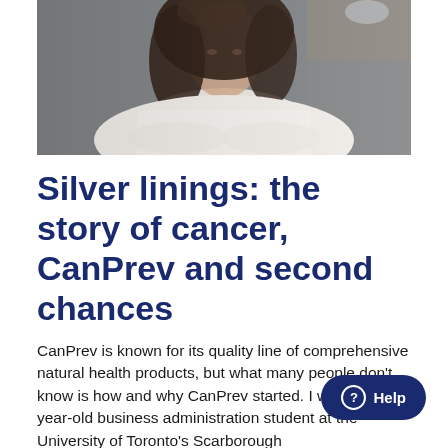[Figure (photo): A woman with long dark hair wearing a white ribbed turtleneck sweater, photographed from the shoulders up against a blurred grey background.]
Silver linings: the story of cancer, CanPrev and second chances
CanPrev is known for its quality line of comprehensive natural health products, but what many people don't know is how and why CanPrev started. I was a 19-year-old business administration student at the University of Toronto's Scarborough